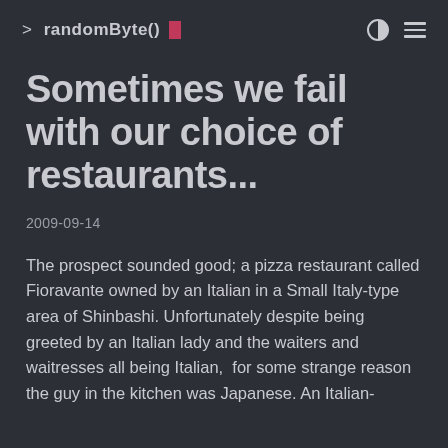> randomByte()
Sometimes we fail with our choice of restaurants...
2009-09-14
The prospect sounded good; a pizza restaurant called Fioravante owned by an Italian in a Small Italy-type area of Shinbashi. Unfortunately despite being greeted by an Italian lady and the waiters and waitresses all being Italian, for some strange reason the guy in the kitchen was Japanese. An Italian-